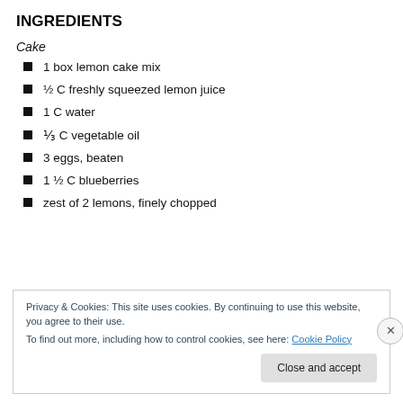INGREDIENTS
Cake
1 box lemon cake mix
½ C freshly squeezed lemon juice
1 C water
⅓ C vegetable oil
3 eggs, beaten
1 ½ C blueberries
zest of 2 lemons, finely chopped
Privacy & Cookies: This site uses cookies. By continuing to use this website, you agree to their use.
To find out more, including how to control cookies, see here: Cookie Policy